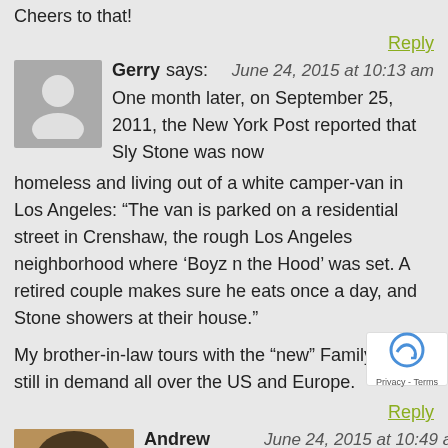Cheers to that!
Reply
Gerry says: June 24, 2015 at 10:13 am
One month later, on September 25, 2011, the New York Post reported that Sly Stone was now homeless and living out of a white camper-van in Los Angeles: “The van is parked on a residential street in Crenshaw, the rough Los Angeles neighborhood where ‘Boyz n the Hood’ was set. A retired couple makes sure he eats once a day, and Stone showers at their house.”
My brother-in-law tours with the “new” Family Stone, still in demand all over the US and Europe.
Reply
Andrew Hidas says: June 24, 2015 at 10:49 am
Gerry, I read somewhere that people ha offered him housing but he preferred life van. His sad downward spiral stands as a commentary,